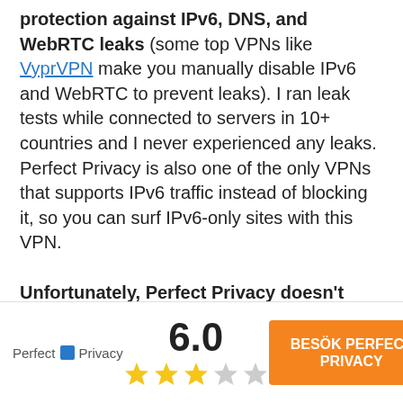protection against IPv6, DNS, and WebRTC leaks (some top VPNs like VyprVPN make you manually disable IPv6 and WebRTC to prevent leaks). I ran leak tests while connected to servers in 10+ countries and I never experienced any leaks. Perfect Privacy is also one of the only VPNs that supports IPv6 traffic instead of blocking it, so you can surf IPv6-only sites with this VPN.

Unfortunately, Perfect Privacy doesn't have split-tunneling (lets you choose which apps use the VPN and which apps use your local network) like top VPNs such as ExpressVPN and Private Internet Access. But it does come with other extra
[Figure (other): Footer bar with Perfect Privacy logo on the left, a rating score of 6.0 with 3 filled gold stars and 2 grey stars in the center, and an orange CTA button 'BESÖK PERFECT PRIVACY' on the right.]